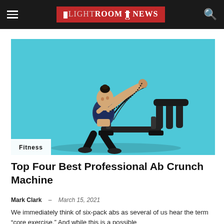LIGHTROOM NEWS
[Figure (photo): Woman in fitness clothing using an ab crunch machine with resistance bands on a light blue background. The exercise equipment is a multi-function ab roller/crunch machine with handles and bungee cords.]
Fitness
Top Four Best Professional Ab Crunch Machine
Mark Clark  –  March 15, 2021
We immediately think of six-pack abs as several of us hear the term "core exercise." And while this is a possible